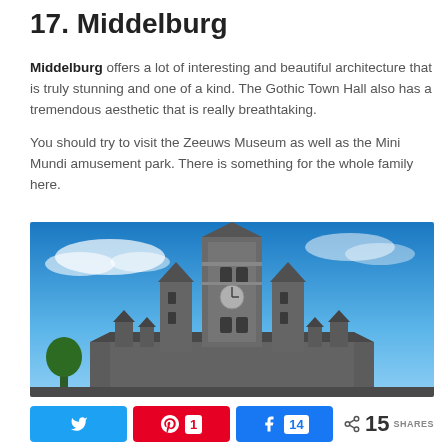17. Middelburg
Middelburg offers a lot of interesting and beautiful architecture that is truly stunning and one of a kind. The Gothic Town Hall also has a tremendous aesthetic that is really breathtaking.
You should try to visit the Zeeuws Museum as well as the Mini Mundi amusement park. There is something for the whole family here.
[Figure (photo): Photo of Middelburg Gothic Town Hall tower against a blue sky with clouds]
Share buttons: Twitter, Pinterest (1), Facebook (14), total 15 SHARES